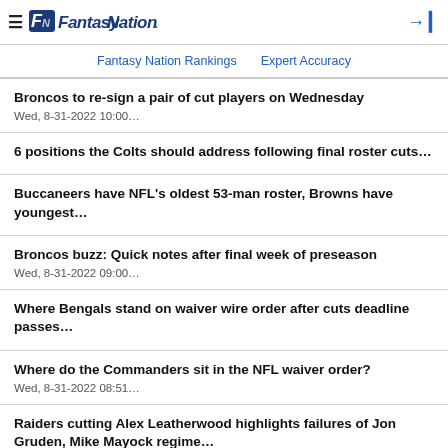≡ FantasyNation.com
Fantasy Nation Rankings   Expert Accuracy
Broncos to re-sign a pair of cut players on Wednesday
Wed, 8-31-2022 10:00…
6 positions the Colts should address following final roster cuts…
Buccaneers have NFL's oldest 53-man roster, Browns have youngest…
Broncos buzz: Quick notes after final week of preseason
Wed, 8-31-2022 09:00…
Where Bengals stand on waiver wire order after cuts deadline passes…
Where do the Commanders sit in the NFL waiver order?
Wed, 8-31-2022 08:51…
Raiders cutting Alex Leatherwood highlights failures of Jon Gruden, Mike Mayock regime…
Preseason and Cuts Takeaways for All 32 Teams
Wed, 8-31-2022 06:56…